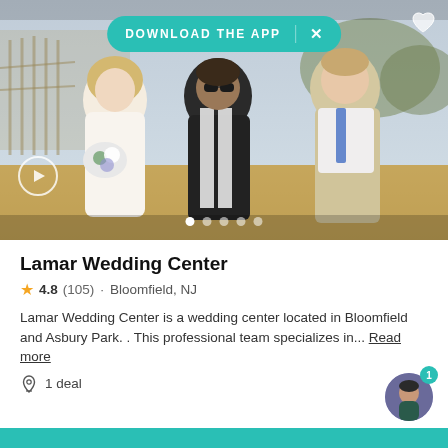[Figure (photo): Wedding photo on beach: bride in white dress holding bouquet, officiant in black robe with white stole, groom in khaki vest and blue tie; beach fence and dune grass in background. Download The App banner overlay at top.]
Lamar Wedding Center
4.8 (105) · Bloomfield, NJ
Lamar Wedding Center is a wedding center located in Bloomfield and Asbury Park. . This professional team specializes in... Read more
1 deal